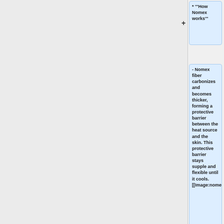* '''How Nomex works'''
- Nomex fiber carbonizes and becomes thicker, forming a protective barrier between the heat source and the skin. This protective barrier stays supple and flexible until it cools. [[Image:nomex1.jpg|center|400px]]
- Fiber itself absorbs heat